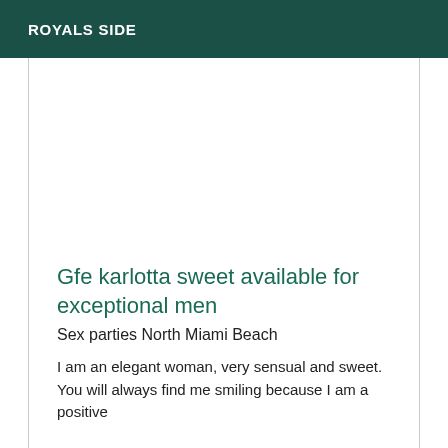ROYALS SIDE
Gfe karlotta sweet available for exceptional men
Sex parties North Miami Beach
I am an elegant woman, very sensual and sweet. You will always find me smiling because I am a positive